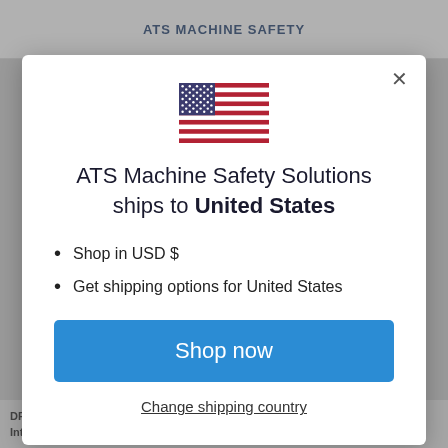[Figure (screenshot): ATS Machine Safety website header with logo visible behind modal overlay]
[Figure (illustration): United States flag emoji/icon centered in modal dialog]
ATS Machine Safety Solutions ships to United States
Shop in USD $
Get shipping options for United States
Shop now
Change shipping country
DPG-2-SK1 - Interlocked Model. Magnetically Actuated Safety Interlock Switch, Dual Voltage 120VAC / 24VDC - $770.00